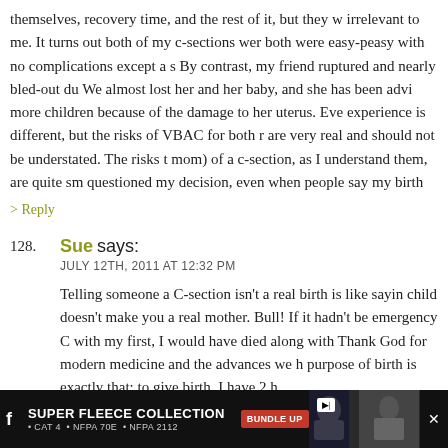themselves, recovery time, and the rest of it, but they w irrelevant to me. It turns out both of my c-sections wer both were easy-peasy with no complications except a s By contrast, my friend ruptured and nearly bled-out du We almost lost her and her baby, and she has been advi more children because of the damage to her uterus. Eve experience is different, but the risks of VBAC for both r are very real and should not be understated. The risks t mom) of a c-section, as I understand them, are quite sm questioned my decision, even when people say my birth
> Reply
128. Sue says:
JULY 12TH, 2011 AT 12:32 PM

Telling someone a C-section isn't a real birth is like sayin child doesn't make you a real mother. Bull! If it hadn't be emergency C with my first, I would have died along with Thank God for modern medicine and the advances we h purpose of birth is exactly that: to give birth. I have 2 h
[Figure (photo): Advertisement banner at bottom: Super Fleece Collection - CAT 4, NFPA 70E, NFPA 2112 with Bundle Up badge and product image showing person in fleece jacket]